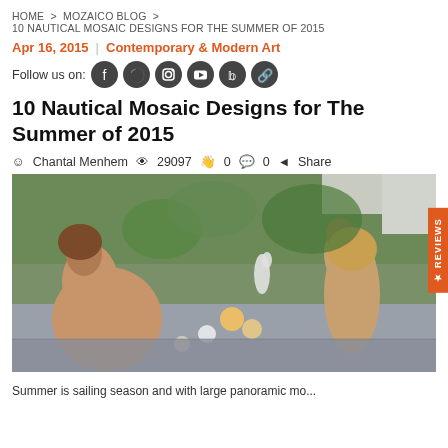HOME > MOZAICO BLOG > 10 NAUTICAL MOSAIC DESIGNS FOR THE SUMMER OF 2015
Apr 16, 2015  |  Contemporary & Modern Art
Follow us on: [social icons: Facebook, Pinterest, Instagram, YouTube, TikTok, Link]
10 Nautical Mosaic Designs for The Summer of 2015
Chantal Menhem  29097  0  0  Share
[Figure (photo): A large decorative mosaic mural displayed horizontally, featuring nude figures, lush tropical foliage, flowers, and a heron in a naturalistic scene.]
Summer is sailing season and with large panoramic...